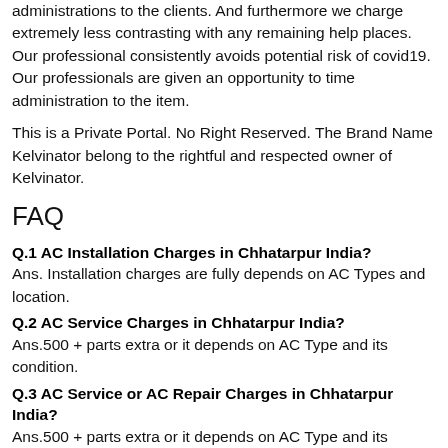administrations to the clients. And furthermore we charge extremely less contrasting with any remaining help places. Our professional consistently avoids potential risk of covid19. Our professionals are given an opportunity to time administration to the item.
This is a Private Portal. No Right Reserved. The Brand Name Kelvinator belong to the rightful and respected owner of Kelvinator.
FAQ
Q.1 AC Installation Charges in Chhatarpur India?
Ans. Installation charges are fully depends on AC Types and location.
Q.2 AC Service Charges in Chhatarpur India?
Ans.500 + parts extra or it depends on AC Type and its condition.
Q.3 AC Service or AC Repair Charges in Chhatarpur India?
Ans.500 + parts extra or it depends on AC Type and its condition.
Q.4 AC Not Cooling?